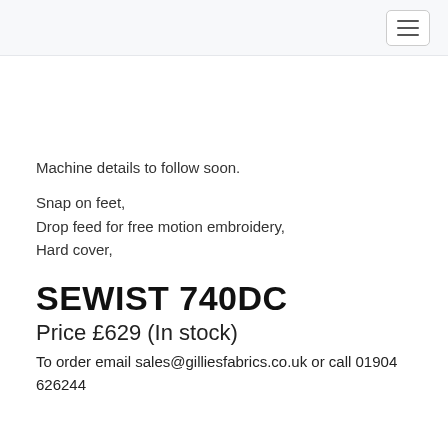Machine details to follow soon.
Snap on feet,
Drop feed for free motion embroidery,
Hard cover,
SEWIST 740DC
Price £629 (In stock)
To order email sales@gilliesfabrics.co.uk or call 01904 626244